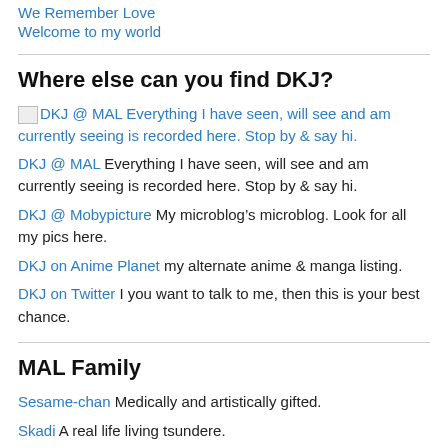We Remember Love
Welcome to my world
Where else can you find DKJ?
[image] DKJ @ MAL Everything I have seen, will see and am currently seeing is recorded here. Stop by & say hi.
DKJ @ MAL Everything I have seen, will see and am currently seeing is recorded here. Stop by & say hi.
DKJ @ Mobypicture My microblog's microblog. Look for all my pics here.
DKJ on Anime Planet my alternate anime & manga listing.
DKJ on Twitter I you want to talk to me, then this is your best chance.
MAL Family
Sesame-chan Medically and artistically gifted.
Skadi A real life living tsundere.